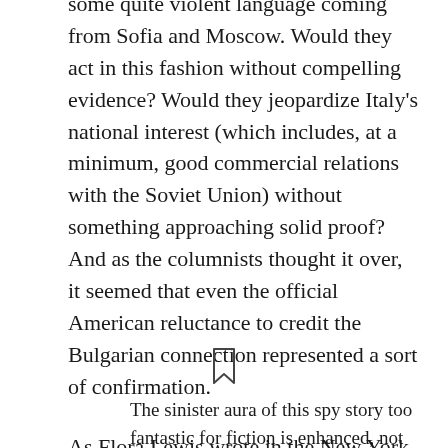some quite violent language coming from Sofia and Moscow. Would they act in this fashion without compelling evidence? Would they jeopardize Italy's national interest (which includes, at a minimum, good commercial relations with the Soviet Union) without something approaching solid proof? And as the columnists thought it over, it seemed that even the official American reluctance to credit the Bulgarian connection represented a sort of confirmation.
As Flora Lewis wrote in the New York Times:
[Figure (illustration): A bookmark icon (outline of a bookmark/ribbon shape)]
The sinister aura of this spy story too fantastic for fiction is enhanced, not